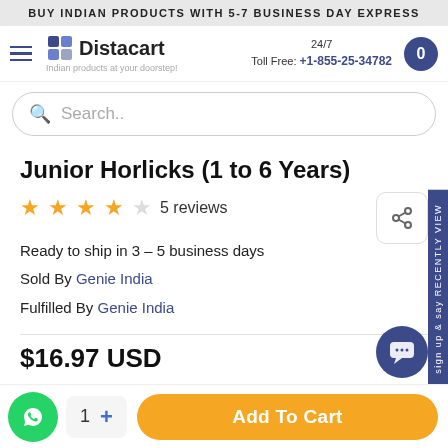BUY INDIAN PRODUCTS WITH 5-7 BUSINESS DAY EXPRESS
[Figure (logo): Distacart logo with tagline 'Indian products at your doorstep!']
24/7 Toll Free: +1-855-25-34782
Search..
Junior Horlicks (1 to 6 Years)
★★★★☆ 5 reviews
Ready to ship in 3 – 5 business days
Sold By Genie India
Fulfilled By Genie India
$16.97 USD
1  +  Add To Cart